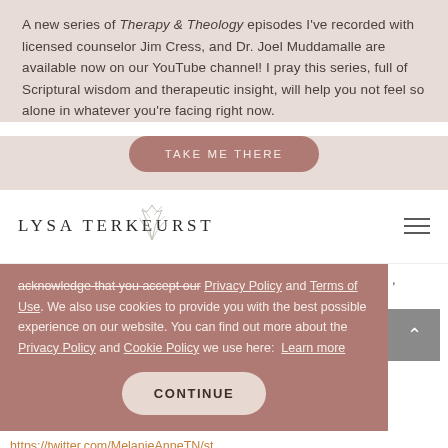A new series of Therapy & Theology episodes I've recorded with licensed counselor Jim Cress, and Dr. Joel Muddamalle are available now on our YouTube channel! I pray this series, full of Scriptural wisdom and therapeutic insight, will help you not feel so alone in whatever you're facing right now.
TAKE ME THERE
[Figure (logo): Lysa TerKeurst logo with decorative leaf/branch illustration above the text]
acknowledge that you accept our Privacy Policy and Terms of Use. We also use cookies to provide you with the best possible experience on our website. You can find out more about the Privacy Policy and Cookie Policy we use here: Learn more
CONTINUE
https://twitter.com/MelanieAnneTN/st...